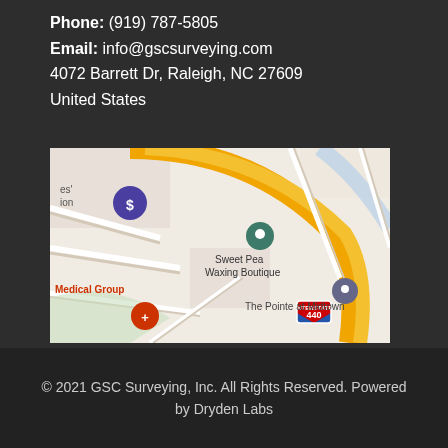Phone: (919) 787-5805
Email: info@gscsurveying.com
4072 Barrett Dr, Raleigh, NC 27609
United States
[Figure (map): Google Maps screenshot showing area around 4072 Barrett Dr, Raleigh, NC 27609, with landmarks including Sweet Pea Waxing Boutique, The Pointe at Midtown, Medical Group, and Interstate 440.]
© 2021 GSC Surveying, Inc. All Rights Reserved. Powered by Dryden Labs